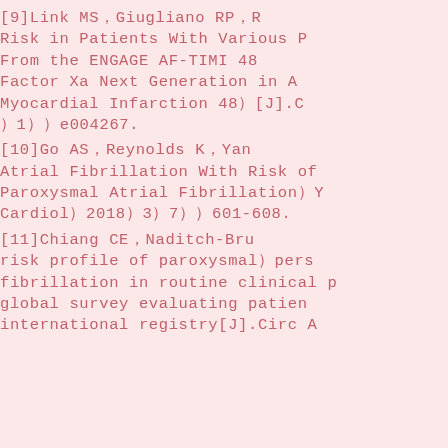[9]Link MS，Giugliano RP，R…Risk in Patients With Various P…From the ENGAGE AF-TIMI 48…Factor Xa Next Generation in A…Myocardial Infarction 48）[J].C…）1））e004267.
[10]Go AS，Reynolds K，Yan…Atrial Fibrillation With Risk of…Paroxysmal Atrial Fibrillation）Y…Cardiol）2018）3）7））601-608.
[11]Chiang CE，Naditch-Bru…risk profile of paroxysmal）pers…fibrillation in routine clinical p…global survey evaluating patien…international registry[J].Circ A…